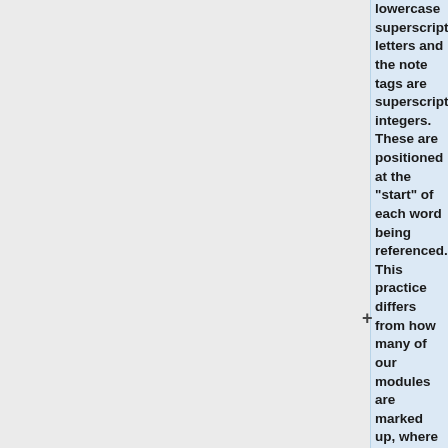lowercase superscript letters and the note tags are superscripted integers. These are positioned at the '"start"' of each word being referenced. This practice differs from how many of our modules are marked up, where the tag is often placed at the '"end"' of the word being referenced. In the KJV module, however, all the